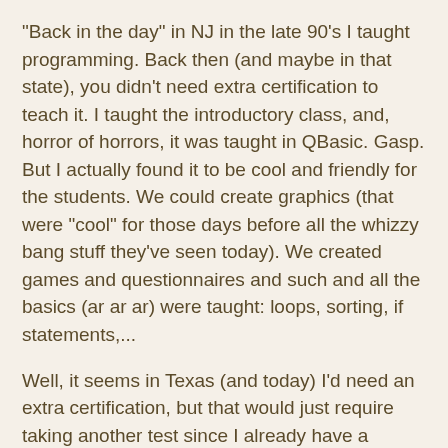"Back in the day" in NJ in the late 90's I taught programming. Back then (and maybe in that state), you didn't need extra certification to teach it. I taught the introductory class, and, horror of horrors, it was taught in QBasic. Gasp. But I actually found it to be cool and friendly for the students. We could create graphics (that were "cool" for those days before all the whizzy bang stuff they've seen today). We created games and questionnaires and such and all the basics (ar ar ar) were taught: loops, sorting, if statements,...
Well, it seems in Texas (and today) I'd need an extra certification, but that would just require taking another test since I already have a certificate. Then there's the question of what language to teach it in. It seems that AP Computer Programming is in JAVA. But in my (old school?) mind I'm thinking that a "non object-oriented language" would be the way to start for a 1st year student. I still think that if you learn the basics well in any language, then transferring your skills to a new language would be doable.
Anyway, hopefully it'll be put on the choice sheets in January, and maybe next year I get to have fun with